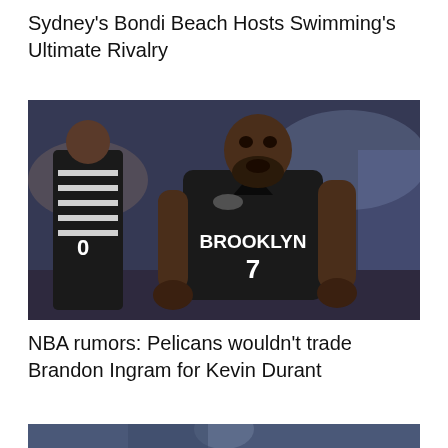Sydney's Bondi Beach Hosts Swimming's Ultimate Rivalry
[Figure (photo): Basketball player in Brooklyn Nets jersey number 7 (Kevin Durant) on court, with referee visible on left side, crowd blurred in background]
NBA rumors: Pelicans wouldn't trade Brandon Ingram for Kevin Durant
[Figure (photo): Partial view of another basketball photo at bottom of page, cropped]